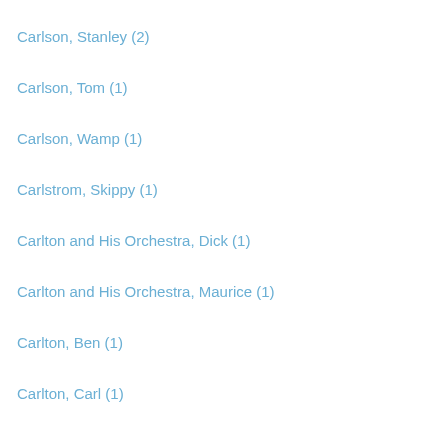Carlson, Stanley (2)
Carlson, Tom (1)
Carlson, Wamp (1)
Carlstrom, Skippy (1)
Carlton and His Orchestra, Dick (1)
Carlton and His Orchestra, Maurice (1)
Carlton, Ben (1)
Carlton, Carl (1)